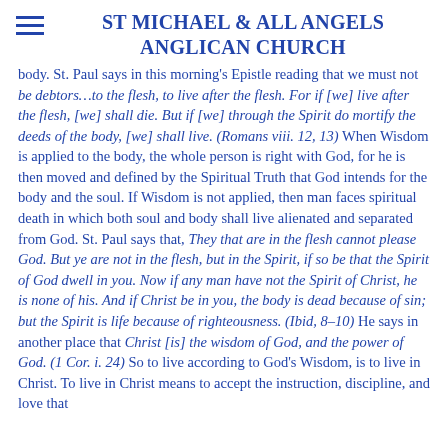ST MICHAEL & ALL ANGELS ANGLICAN CHURCH
body. St. Paul says in this morning's Epistle reading that we must not be debtors…to the flesh, to live after the flesh. For if [we] live after the flesh, [we] shall die. But if [we] through the Spirit do mortify the deeds of the body, [we] shall live. (Romans viii. 12, 13) When Wisdom is applied to the body, the whole person is right with God, for he is then moved and defined by the Spiritual Truth that God intends for the body and the soul. If Wisdom is not applied, then man faces spiritual death in which both soul and body shall live alienated and separated from God. St. Paul says that, They that are in the flesh cannot please God. But ye are not in the flesh, but in the Spirit, if so be that the Spirit of God dwell in you. Now if any man have not the Spirit of Christ, he is none of his. And if Christ be in you, the body is dead because of sin; but the Spirit is life because of righteousness. (Ibid, 8-10) He says in another place that Christ [is] the wisdom of God, and the power of God. (1 Cor. i. 24) So to live according to God's Wisdom, is to live in Christ. To live in Christ means to accept the instruction, discipline, and love that